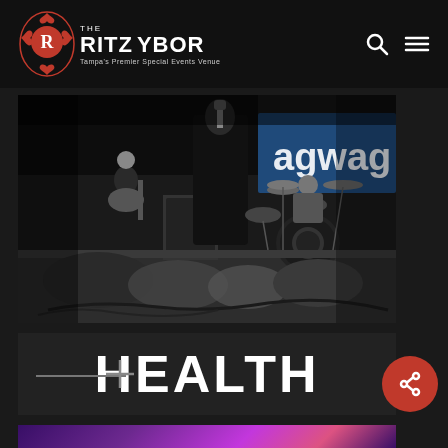THE RITZ YBOR — Tampa's Premier Special Events Venue
[Figure (photo): Black and white concert photo showing band performing on stage at The Ritz Ybor. A singer in a black leather jacket holds a microphone at center, a guitarist plays on the left, and a drummer is visible in the background. A banner reading 'agwag' is partially visible in the upper right.]
HEALTH
[Figure (photo): Partial view of a colorful abstract image with purple, pink and blue hues at the very bottom of the page.]